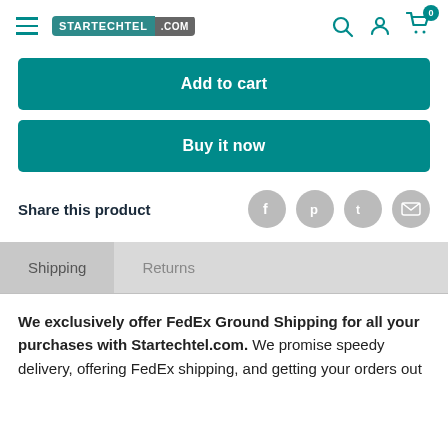STARTECHTEL .COM — navigation header with hamburger menu, logo, search, account, and cart icons
Add to cart
Buy it now
Share this product
Shipping   Returns
We exclusively offer FedEx Ground Shipping for all your purchases with Startechtel.com. We promise speedy delivery, offering FedEx shipping, and getting your orders out